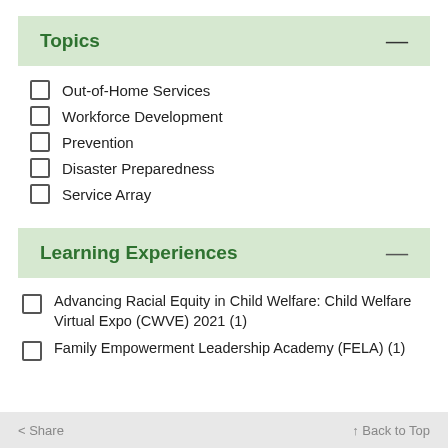Topics
Out-of-Home Services
Workforce Development
Prevention
Disaster Preparedness
Service Array
Learning Experiences
Advancing Racial Equity in Child Welfare: Child Welfare Virtual Expo (CWVE) 2021 (1)
Family Empowerment Leadership Academy (FELA) (1)
< Share    ↑ Back to Top